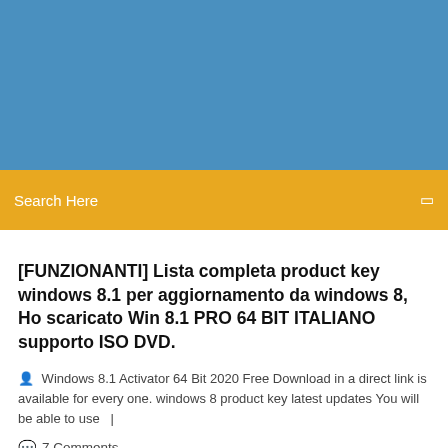[Figure (other): Blue header banner background]
Search Here
[FUNZIONANTI] Lista completa product key windows 8.1 per aggiornamento da windows 8, Ho scaricato Win 8.1 PRO 64 BIT ITALIANO supporto ISO DVD.
Windows 8.1 Activator 64 Bit 2020 Free Download in a direct link is available for every one. windows 8 product key latest updates You will be able to use  |
7 Comments